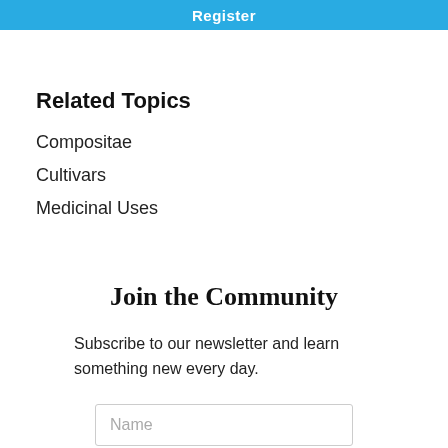Register
Related Topics
Compositae
Cultivars
Medicinal Uses
Join the Community
Subscribe to our newsletter and learn something new every day.
Name